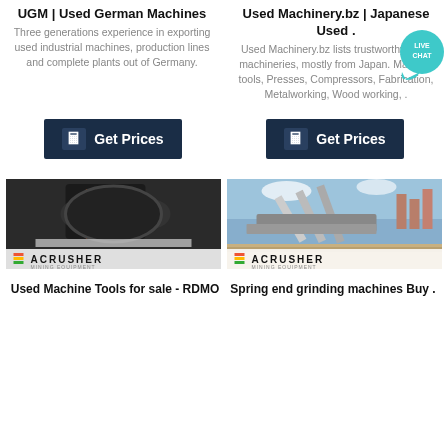UGM | Used German Machines
Three generations experience in exporting used industrial machines, production lines and complete plants out of Germany.
Used Machinery.bz | Japanese Used .
Used Machinery.bz lists trustworthy used machineries, mostly from Japan. Machine tools, Presses, Compressors, Fabrication, Metalworking, Wood working, .
[Figure (other): Get Prices button with calculator icon, dark navy background]
[Figure (other): Get Prices button with calculator icon, dark navy background]
[Figure (photo): Industrial machinery close-up with ACRUSHER logo]
[Figure (photo): Mobile crushing/screening plant at construction site with ACRUSHER logo]
Used Machine Tools for sale - RDMO
Spring end grinding machines Buy .